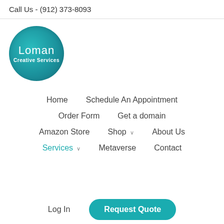Call Us - (912) 373-8093
[Figure (logo): Loman Creative Services circular teal logo with white text]
Home
Schedule An Appointment
Order Form
Get a domain
Amazon Store
Shop
About Us
Services
Metaverse
Contact
Log In
Request Quote